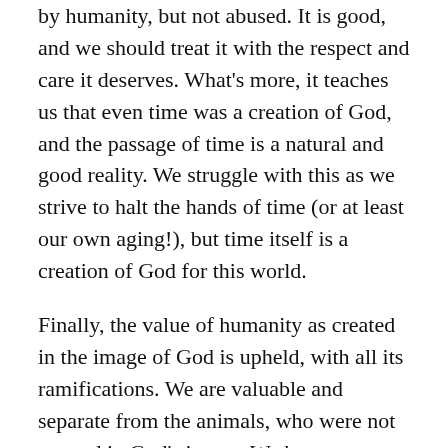by humanity, but not abused. It is good, and we should treat it with the respect and care it deserves. What's more, it teaches us that even time was a creation of God, and the passage of time is a natural and good reality. We struggle with this as we strive to halt the hands of time (or at least our own aging!), but time itself is a creation of God for this world.
Finally, the value of humanity as created in the image of God is upheld, with all its ramifications. We are valuable and separate from the animals, who were not created in God's image. We have a purpose in this world, and it is a significant and, dare I even say it, noble purpose – to steward the world that God has made. This has huge implications for how we view ourselves, our work, and our place in this world.